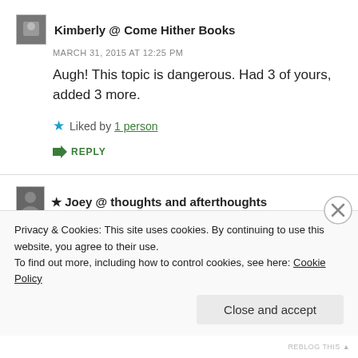Kimberly @ Come Hither Books
MARCH 31, 2015 AT 12:25 PM
Augh! This topic is dangerous. Had 3 of yours, added 3 more.
Liked by 1 person
REPLY
Joey @ thoughts and afterthoughts
APRIL 3, 2015 AT 6:11 PM
Privacy & Cookies: This site uses cookies. By continuing to use this website, you agree to their use.
To find out more, including how to control cookies, see here: Cookie Policy
Close and accept